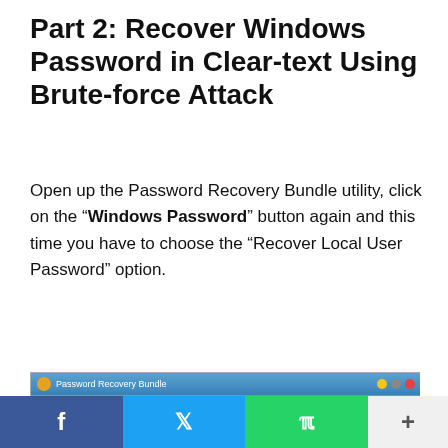Part 2: Recover Windows Password in Clear-text Using Brute-force Attack
Open up the Password Recovery Bundle utility, click on the “Windows Password” button again and this time you have to choose the “Recover Local User Password” option.
[Figure (screenshot): Screenshot of Password Recovery Bundle 2018 application window showing the main interface with Start Recovery and Recover From File buttons]
Social share bar with Facebook, Twitter, WhatsApp, and more options